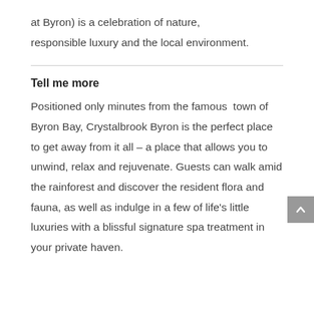at Byron) is a celebration of nature, responsible luxury and the local environment.
Tell me more
Positioned only minutes from the famous town of Byron Bay, Crystalbrook Byron is the perfect place to get away from it all – a place that allows you to unwind, relax and rejuvenate. Guests can walk amid the rainforest and discover the resident flora and fauna, as well as indulge in a few of life's little luxuries with a blissful signature spa treatment in your private haven.